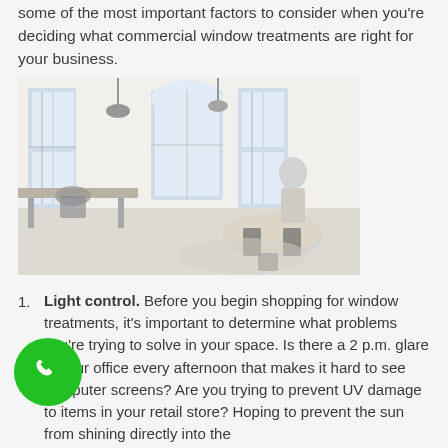some of the most important factors to consider when you're deciding what commercial window treatments are right for your business.
[Figure (photo): Black and white photo of a bright modern commercial office space with large windows, desks, chairs, and a round table with chairs in the background.]
Light control. Before you begin shopping for window treatments, it's important to determine what problems you're trying to solve in your space. Is there a 2 p.m. glare in your office every afternoon that makes it hard to see computer screens? Are you trying to prevent UV damage to items in your retail store? Hoping to prevent the sun from shining directly into the